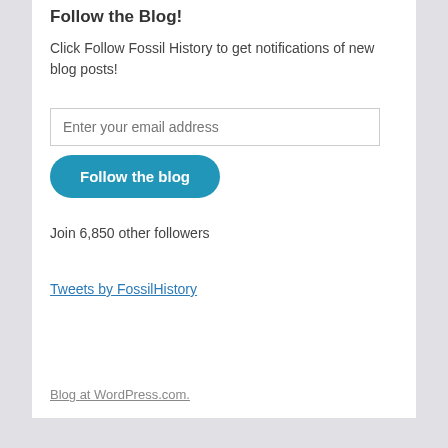Follow the Blog!
Click Follow Fossil History to get notifications of new blog posts!
Join 6,850 other followers
Tweets by FossilHistory
Blog at WordPress.com.